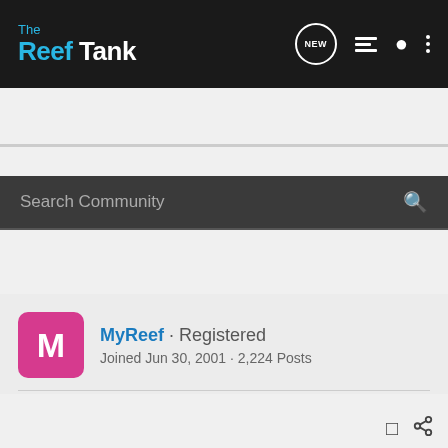The Reef Tank — navigation bar with logo and icons
Search Community
MyReef · Registered
Joined Jun 30, 2001 · 2,224 Posts
Discussion Starter · #11 · Jul 19, 2003
Yep...probe is included....probe, monitor, power supply, calibration fluid, etc, etc.....
Andy
MyReef Creations, LLC